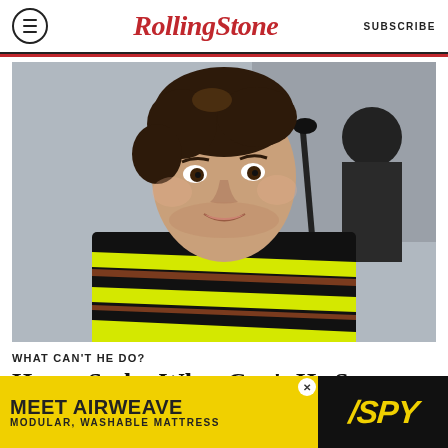Rolling Stone | SUBSCRIBE
[Figure (photo): Harry Styles smiling at an outdoor performance, wearing a black sweater with yellow and brown diagonal stripes, with a microphone stand visible and another person in background]
WHAT CAN'T HE DO?
Harry Styles What Can't He...
[Figure (infographic): Advertisement banner: MEET AIRWEAVE - MODULAR, WASHABLE MATTRESS with SPY logo]